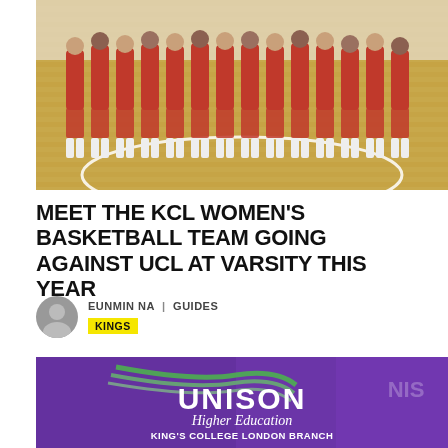[Figure (photo): KCL Women's Basketball Team group photo on a basketball court, players in red uniforms]
MEET THE KCL WOMEN'S BASKETBALL TEAM GOING AGAINST UCL AT VARSITY THIS YEAR
EUNMIN NA | GUIDES
KINGS
[Figure (photo): UNISON Higher Education King's College London Branch banner on purple background]